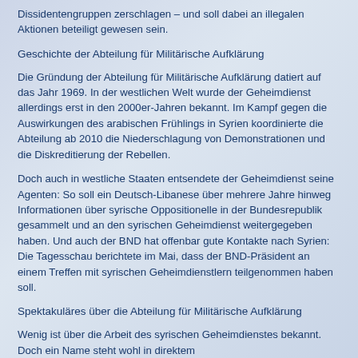Dissidentengruppen zerschlagen – und soll dabei an illegalen Aktionen beteiligt gewesen sein.
Geschichte der Abteilung für Militärische Aufklärung
Die Gründung der Abteilung für Militärische Aufklärung datiert auf das Jahr 1969. In der westlichen Welt wurde der Geheimdienst allerdings erst in den 2000er-Jahren bekannt. Im Kampf gegen die Auswirkungen des arabischen Frühlings in Syrien koordinierte die Abteilung ab 2010 die Niederschlagung von Demonstrationen und die Diskreditierung der Rebellen.
Doch auch in westliche Staaten entsendete der Geheimdienst seine Agenten: So soll ein Deutsch-Libanese über mehrere Jahre hinweg Informationen über syrische Oppositionelle in der Bundesrepublik gesammelt und an den syrischen Geheimdienst weitergegeben haben. Und auch der BND hat offenbar gute Kontakte nach Syrien: Die Tagesschau berichtete im Mai, dass der BND-Präsident an einem Treffen mit syrischen Geheimdienstlern teilgenommen haben soll.
Spektakuläres über die Abteilung für Militärische Aufklärung
Wenig ist über die Arbeit des syrischen Geheimdienstes bekannt. Doch ein Name steht wohl in direktem